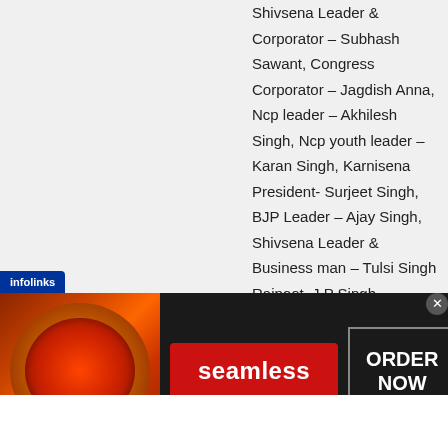Shivsena Leader & Corporator – Subhash Sawant, Congress Corporator – Jagdish Anna, Ncp leader – Akhilesh Singh, Ncp youth leader – Karan Singh, Karnisena President- Surjeet Singh, BJP Leader – Ajay Singh, Shivsena Leader & Business man – Tulsi Singh Rajpoot, J.P Singh – Businessman & Owner Khawahish Hotel, S.P.Singh – Businessman  Laxmi Hotel, J.P Singh (Babban Singh) Social & Seniour Leader, Ramesh Singh – Owner Asiad Hotel Ghatkopar, Gyan Prakash Singh – Owner Modern Security Force, Manvendra Singh – Samta Bank, Balwant Deshmukh – Sr PI & Incharge – Sakinaka
[Figure (other): Seamless food ordering advertisement banner with pizza image on the left, Seamless logo in red center button, and ORDER NOW box on the right, on a dark background]